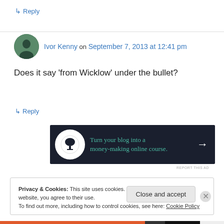↳ Reply
Ivor Kenny on September 7, 2013 at 12:41 pm
Does it say 'from Wicklow' under the bullet?
↳ Reply
[Figure (infographic): Dark banner ad: Turn your blog into a money-making online course. with right arrow]
REPORT THIS AD
Privacy & Cookies: This site uses cookies. By continuing to use this website, you agree to their use.
To find out more, including how to control cookies, see here: Cookie Policy
Close and accept